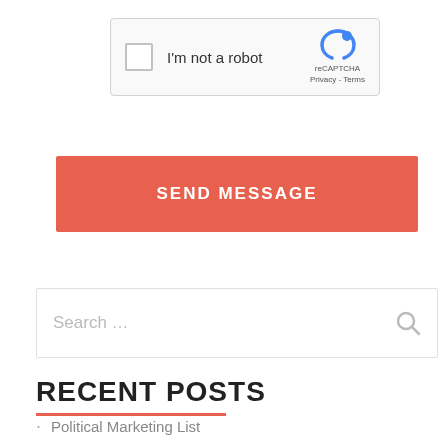[Figure (screenshot): reCAPTCHA widget with checkbox labeled 'I'm not a robot' and reCAPTCHA logo with Privacy and Terms links]
SEND MESSAGE
[Figure (screenshot): Search input box with placeholder text 'Search ...' and a search icon on the right]
RECENT POSTS
Political Marketing List
Popular Consumer Mailing Lists
Fresh Responsive Online Leads